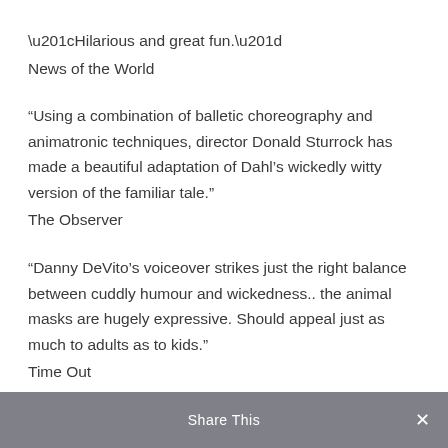“Hilarious and great fun.”
News of the World
“Using a combination of balletic choreography and animatronic techniques, director Donald Sturrock has made a beautiful adaptation of Dahl’s wickedly witty version of the familiar tale.”
The Observer
“Danny DeVito’s voiceover strikes just the right balance between cuddly humour and wickedness.. the animal masks are hugely expressive. Should appeal just as much to adults as to kids.”
Time Out
“Danny DeVito’s voiceover strikes just the right balance between cuddly humour and wickedness..
Share This